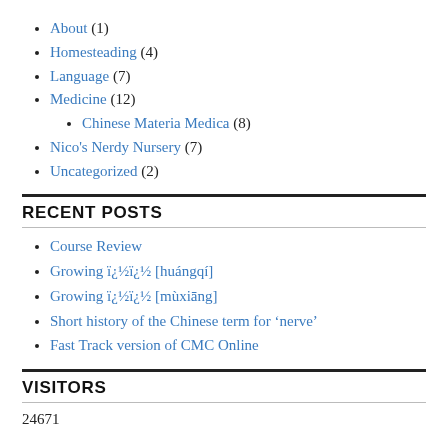About (1)
Homesteading (4)
Language (7)
Medicine (12)
Chinese Materia Medica (8)
Nico's Nerdy Nursery (7)
Uncategorized (2)
RECENT POSTS
Course Review
Growing oo [huángqí]
Growing oo [mùxiāng]
Short history of the Chinese term for 'nerve'
Fast Track version of CMC Online
VISITORS
24671